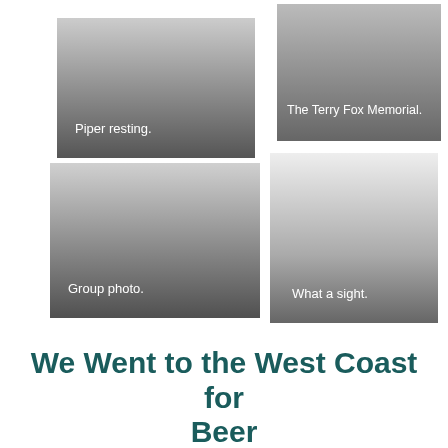[Figure (photo): Grayscale photo placeholder with gradient and caption 'Piper resting.']
[Figure (photo): Grayscale photo placeholder with gradient and caption 'The Terry Fox Memorial.']
[Figure (photo): Grayscale photo placeholder with gradient and caption 'Group photo.']
[Figure (photo): Grayscale photo placeholder with gradient and caption 'What a sight.']
We Went to the West Coast for Beer